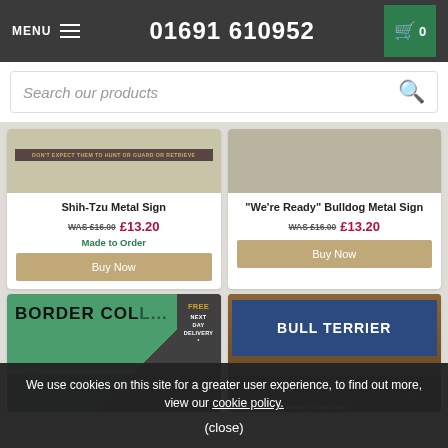MENU  01691 610952  0
Search our products
Shih-Tzu Metal Sign
WAS £16.00 £13.20
Made to Order
Buy Now
"We're Ready" Bulldog Metal Sign
WAS £16.00 £13.20
Buy Now
[Figure (photo): Border Collie metal sign product image with FREE NEXT DAY DELIVERY badge]
[Figure (photo): Bull Terrier metal sign product image]
We use cookies on this site for a greater user experience, to find out more, view our cookie policy.
(close)